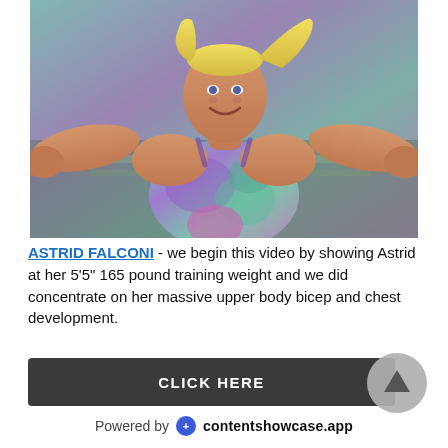[Figure (photo): A muscular blonde woman in a colorful teal and purple floral swimsuit, arms spread wide, smiling, standing near a pool area.]
ASTRID FALCONI - we begin this video by showing Astrid at her 5'5" 165 pound training weight and we did concentrate on her massive upper body bicep and chest development.
CLICK HERE
Powered by contentshowcase.app